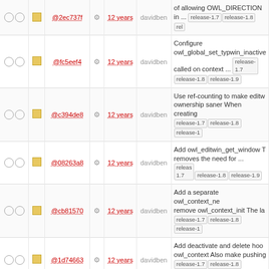|  |  | hash |  | age | author | description |
| --- | --- | --- | --- | --- | --- | --- |
|  |  | @2ec737f |  | 12 years | davidben | of allowing OWL_DIRECTION... in ... release-1.7 release-1.8 rel... |
|  |  | @fc5eef4 |  | 12 years | davidben | Configure owl_global_set_typwin_inactive called on context ... release-1.7 release-1.8 release-1.9 |
|  |  | @c394de8 |  | 12 years | davidben | Use ref-counting to make editw ownership saner When creating... release-1.7 release-1.8 release-1... |
|  |  | @08263a8 |  | 12 years | davidben | Add owl_editwin_get_window T removes the need for ... release-1.7 release-1.8 release-1.9 |
|  |  | @cb81570 |  | 12 years | davidben | Add a separate owl_context_ne remove owl_context_init The la... release-1.7 release-1.8 release-1... |
|  |  | @1d74663 |  | 12 years | davidben | Add deactivate and delete hoo owl_context Also make pushing... release-1.7 release-1.8 release-1... |
|  |  | @818f19c |  | 12 years | davidben | Rename owl_global_get_typwi owl_global_current_typwin The... release-1.7 release-1.8 release-1... |
|  |  | @005eae5 |  | 12 years | davidben | Make owl_global_get_typwin r the context's typwin The only ... release-1.7 release-1.8 release-1... |
|  |  | @9eb38bb |  | 12 years | davidben | Likewise, don't reuse a global owl_viewwin This means we do have ... release-1.7 release-1.8 release-1.9 |
|  |  | @03ca005 |  | 12 years | davidben | Create a new owl_popwin eve instead of rewiring the old one release-1.7 release-1.8 release-1... |